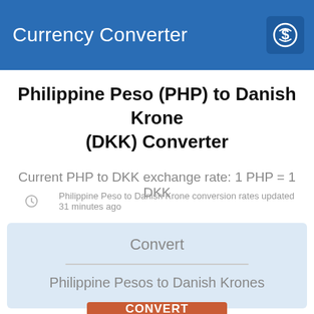Currency Converter
Philippine Peso (PHP) to Danish Krone (DKK) Converter
Current PHP to DKK exchange rate: 1 PHP = 1 DKK
Philippine Peso to Danish Krone conversion rates updated 31 minutes ago
Convert
Philippine Pesos to Danish Krones
CONVERT